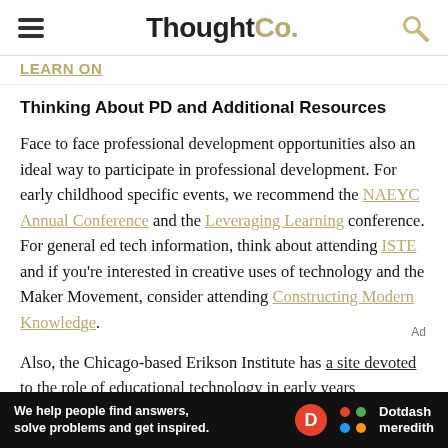ThoughtCo.
LEARN ON
Thinking About PD and Additional Resources
Face to face professional development opportunities also an ideal way to participate in professional development. For early childhood specific events, we recommend the NAEYC Annual Conference and the Leveraging Learning conference. For general ed tech information, think about attending ISTE and if you're interested in creative uses of technology and the Maker Movement, consider attending Constructing Modern Knowledge.
Also, the Chicago-based Erikson Institute has a site devoted to the role of educational technology in early years
We help people find answers, solve problems and get inspired. Dotdash meredith